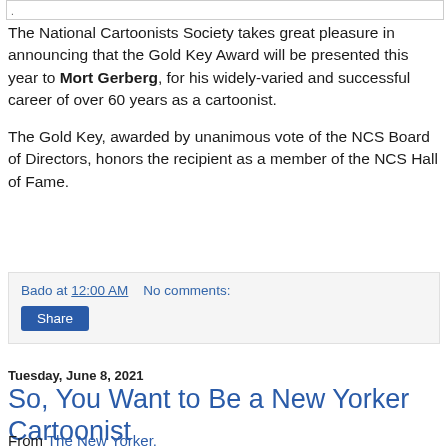The National Cartoonists Society takes great pleasure in announcing that the Gold Key Award will be presented this year to Mort Gerberg, for his widely-varied and successful career of over 60 years as a cartoonist.

The Gold Key, awarded by unanimous vote of the NCS Board of Directors, honors the recipient as a member of the NCS Hall of Fame.
Bado at 12:00 AM   No comments:
Share
Tuesday, June 8, 2021
So, You Want to Be a New Yorker Cartoonist
From The New Yorker.